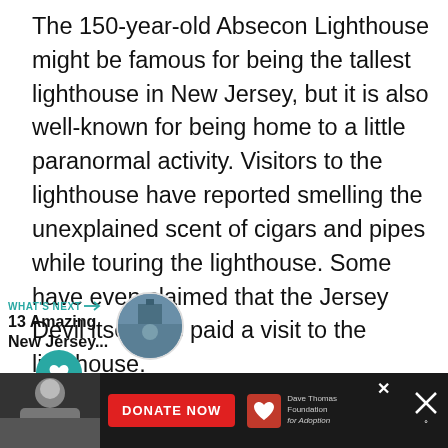The 150-year-old Absecon Lighthouse might be famous for being the tallest lighthouse in New Jersey, but it is also well-known for being home to a little paranormal activity. Visitors to the lighthouse have reported smelling the unexplained scent of cigars and pipes while touring the lighthouse. Some have even claimed that the Jersey Devil itself has paid a visit to the lighthouse.
[Figure (infographic): Like (heart) button — teal circular icon with a white heart symbol]
[Figure (infographic): Share button — white circular icon with a share/network symbol]
[Figure (infographic): What's Next promo block: label 'WHAT'S NEXT →', title '13 Amazing New Jersey...', with a circular thumbnail photo]
[Figure (infographic): Advertisement banner at bottom: dark background with person photo on left, red DONATE NOW button, Dave Thomas Foundation for Adoption logo, and close X buttons]